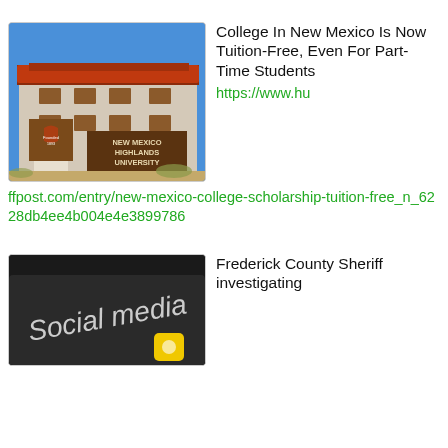[Figure (photo): Photo of New Mexico Highlands University building with red tile roof and university sign]
College In New Mexico Is Now Tuition-Free, Even For Part-Time Students
https://www.huffpost.com/entry/new-mexico-college-scholarship-tuition-free_n_6228db4ee4b004e4e3899786
[Figure (photo): Dark photo showing a device screen with 'Social media' text visible and a yellow app icon]
Frederick County Sheriff investigating